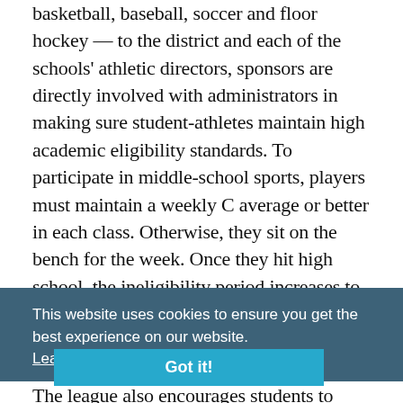basketball, baseball, soccer and floor hockey — to the district and each of the schools' athletic directors, sponsors are directly involved with administrators in making sure student-athletes maintain high academic eligibility standards. To participate in middle-school sports, players must maintain a weekly C average or better in each class. Otherwise, they sit on the bench for the week. Once they hit high school, the ineligibility period increases to a semester, although the academic standards are lower. The league also encourages students to improve academic achievement and stay in school. One upshot of this arrangement is that the Prep League feeds Denver high schools with a "bumper crop" of freshman athletes, Wolfer says. "The intent was not to build up our high school athletic teams,"
This website uses cookies to ensure you get the best experience on our website. Learn more
Got it!